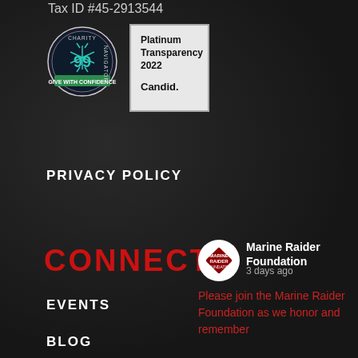Tax ID #45-2913544
[Figure (logo): Charity Navigator badge showing score 99, circular design with teal/green ribbon and snowflake icon, text 'Give With Confidence']
[Figure (logo): Candid Platinum Transparency 2022 badge, white/light gray square with text 'Platinum Transparency 2022 Candid.']
PRIVACY POLICY
CONNECT
[Figure (logo): Marine Raider Foundation circular logo with red diamond/square icon and 'Marine Raider Foundation' text inside white circle]
Marine Raider Foundation
3 days ago
Please join the Marine Raider Foundation as we honor and remember
EVENTS
BLOG